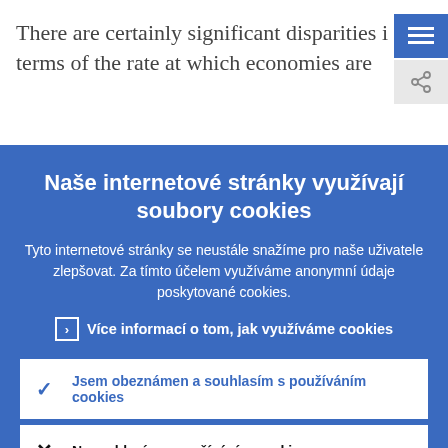There are certainly significant disparities i... terms of the rate at which economies are...
Naše internetové stránky využívají soubory cookies
Tyto internetové stránky se neustále snažíme pro naše uživatele zlepšovat. Za tímto účelem využíváme anonymní údaje poskytované cookies.
› Více informací o tom, jak využíváme cookies
✓ Jsem obeznámen a souhlasím s používáním cookies
✗ Nesouhlasím s používáním cookies.